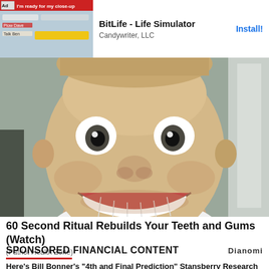[Figure (screenshot): Mobile ad banner for BitLife - Life Simulator app by Candywriter, LLC with Install button]
[Figure (photo): Close-up photo of a man making a wide-eyed, big-grin facial expression showing teeth, lit against a light background]
60 Second Ritual Rebuilds Your Teeth and Gums (Watch)
(Patriot Health Zone)
SPONSORED FINANCIAL CONTENT
Here's Bill Bonner's "4th and Final Prediction" Stansberry Research